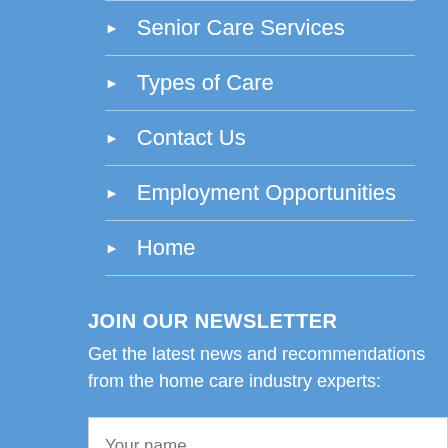Senior Care Services
Types of Care
Contact Us
Employment Opportunities
Home
JOIN OUR NEWSLETTER
Get the latest news and recommendations from the home care industry experts:
Your name